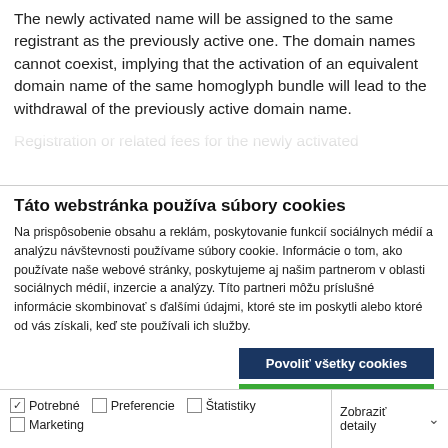The newly activated name will be assigned to the same registrant as the previously active one. The domain names cannot coexist, implying that the activation of an equivalent domain name of the same homoglyph bundle will lead to the withdrawal of the previously active domain name.
Registration or related fees for the newly activated
Táto webstránka používa súbory cookies
Na prispôsobenie obsahu a reklám, poskytovanie funkcií sociálnych médií a analýzu návštevnosti používame súbory cookie. Informácie o tom, ako používate naše webové stránky, poskytujeme aj našim partnerom v oblasti sociálnych médií, inzercie a analýzy. Títo partneri môžu príslušné informácie skombinovať s ďalšími údajmi, ktoré ste im poskytli alebo ktoré od vás získali, keď ste používali ich služby.
Povoliť všetky cookies
Povoliť výber
Len potrebné cookies
Potrebné  Preferencie  Štatistiky  Marketing  Zobraziť detaily